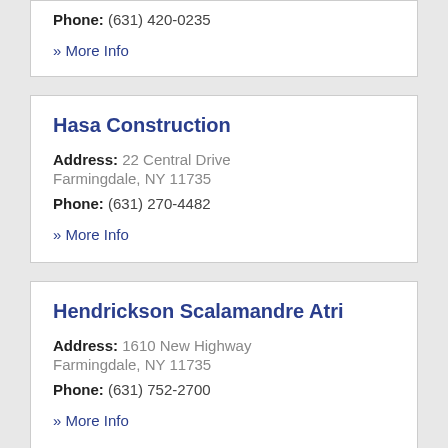Phone: (631) 420-0235
» More Info
Hasa Construction
Address: 22 Central Drive Farmingdale, NY 11735
Phone: (631) 270-4482
» More Info
Hendrickson Scalamandre Atri
Address: 1610 New Highway Farmingdale, NY 11735
Phone: (631) 752-2700
» More Info